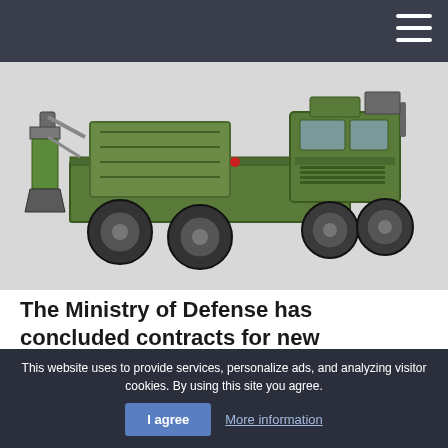[Figure (illustration): 3D rendering of a TATRA T-815 military flatbed vehicle in olive green color, viewed from above-rear angle, showing the truck cab, flatbed with equipment, and large wheels]
The Ministry of Defense has concluded contracts for new equipment. The Army will receive 16 TATRA flatbed vehicles of the T-815 type
Lubor Koudelka, Deputy Minister of Defense for the Management of the Armaments and Acquisitions Section, signed two contracts.
This website uses to provide services, personalize ads, and analyzing visitor cookies. By using this site you agree.